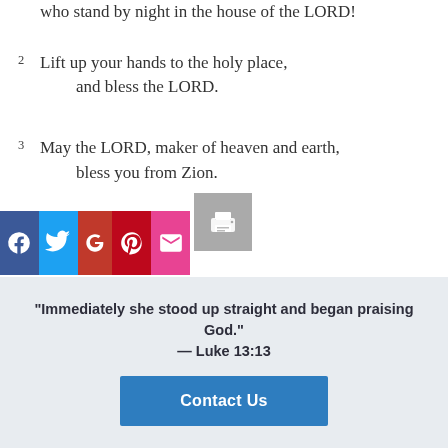who stand by night in the house of the LORD!
2  Lift up your hands to the holy place,
      and bless the LORD.
3  May the LORD, maker of heaven and earth,
      bless you from Zion.
[Figure (infographic): Social sharing bar with Facebook, Twitter, Google+, Pinterest, Email icons, and a print button]
“Immediately she stood up straight and began praising God.” — Luke 13:13
Contact Us